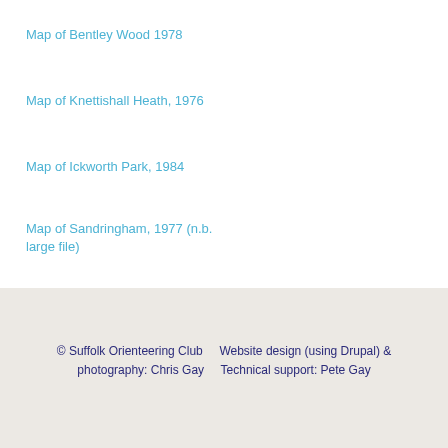Map of Bentley Wood 1978
Map of Knettishall Heath, 1976
Map of Ickworth Park, 1984
Map of Sandringham, 1977 (n.b. large file)
© Suffolk Orienteering Club    Website design (using Drupal) & photography: Chris Gay    Technical support: Pete Gay